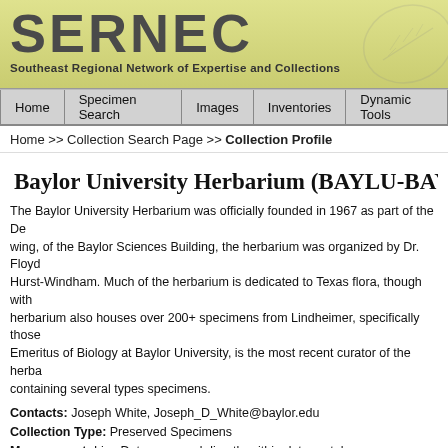[Figure (logo): SERNEC logo with text 'Southeast Regional Network of Expertise and Collections' on a yellow-green banner background with leaf watermark]
Home | Specimen Search | Images | Inventories | Dynamic Tools
Home >> Collection Search Page >> Collection Profile
Baylor University Herbarium (BAYLU-BAY...
The Baylor University Herbarium was officially founded in 1967 as part of the De... wing, of the Baylor Sciences Building, the herbarium was organized by Dr. Floyd... Hurst-Windham. Much of the herbarium is dedicated to Texas flora, though with... herbarium also houses over 200+ specimens from Lindheimer, specifically those... Emeritus of Biology at Baylor University, is the most recent curator of the herba... containing several types specimens.
Contacts: Joseph White, Joseph_D_White@baylor.edu
Collection Type: Preserved Specimens
Management: Live Data managed directly within data portal
Global Unique Identifier: 71d21ba0-06fc-4ed9-a473-449d68eadafa
DwC-Archive Access Point: https://portal.torcherbaria.org/portal/content/dwca...